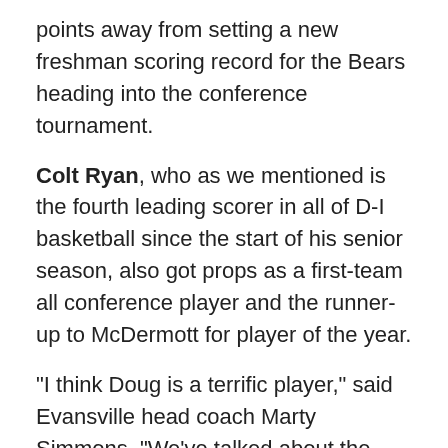points away from setting a new freshman scoring record for the Bears heading into the conference tournament.
Colt Ryan, who as we mentioned is the fourth leading scorer in all of D-I basketball since the start of his senior season, also got props as a first-team all conference player and the runner-up to McDermott for player of the year.
"I think Doug is a terrific player," said Evansville head coach Marty Simmons. "We've talked about the similarities of Colt and Doug; we just haven't had the success nationally to get him recognized. He has brought a mentality, skill set and work ethic that has meant everything to us. He is also tremendous in our community - if we could embody the persona of an